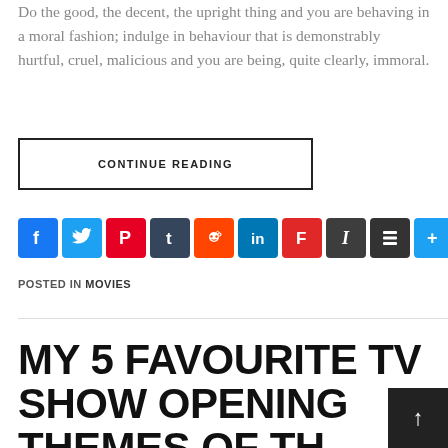Do the good, the decent, the upright thing and you are behaving in a moral fashion; indulge in behaviour that is demonstrably hurtful, cruel, malicious and you are being, quite clearly, immoral.
CONTINUE READING
[Figure (other): Social sharing icons: Facebook, Twitter, Pinterest, Tumblr, Reddit, LinkedIn, Flipboard, Instapaper, Buffer, Share]
POSTED IN MOVIES
MY 5 FAVOURITE TV SHOW OPENING THEMES OF TH…